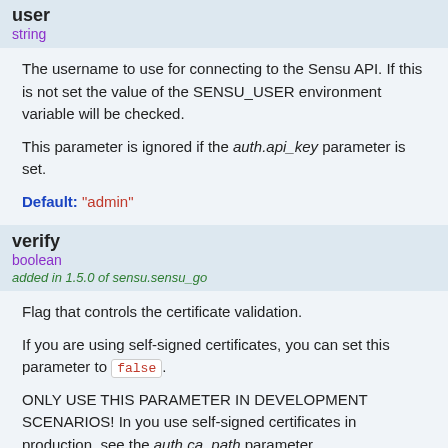user
string
The username to use for connecting to the Sensu API. If this is not set the value of the SENSU_USER environment variable will be checked.
This parameter is ignored if the auth.api_key parameter is set.
Default: "admin"
verify
boolean
added in 1.5.0 of sensu.sensu_go
Flag that controls the certificate validation.
If you are using self-signed certificates, you can set this parameter to false.
ONLY USE THIS PARAMETER IN DEVELOPMENT SCENARIOS! In you use self-signed certificates in production, see the auth.ca_path parameter.
It is also possible to set this parameter via the